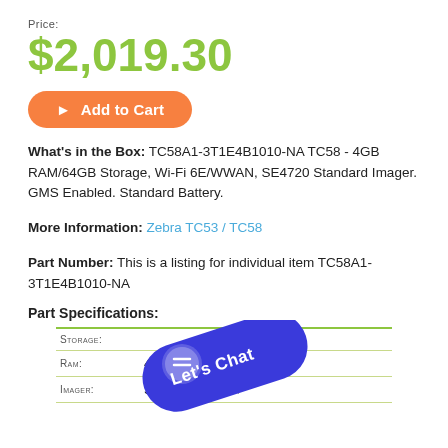Price:
$2,019.30
▶ Add to Cart
What's in the Box: TC58A1-3T1E4B1010-NA TC58 - 4GB RAM/64GB Storage, Wi-Fi 6E/WWAN, SE4720 Standard Imager. GMS Enabled. Standard Battery.
More Information: Zebra TC53 / TC58
Part Number: This is a listing for individual item TC58A1-3T1E4B1010-NA
Part Specifications:
| Spec | Value |
| --- | --- |
| Storage: |  |
| RAM: | 4GB |
| Imager: | SE4720 Standa... |